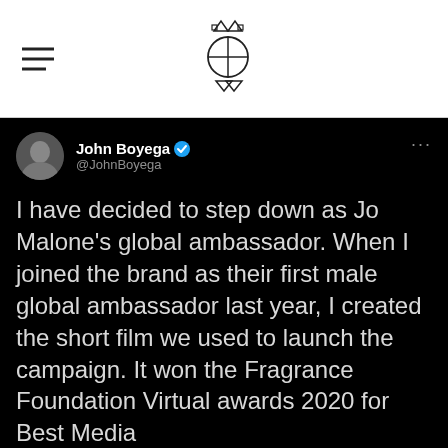Navigation header with hamburger menu and logo
[Figure (screenshot): Tweet from John Boyega (@JohnBoyega) with verified checkmark. Tweet text reads: 'I have decided to step down as Jo Malone's global ambassador. When I joined the brand as their first male global ambassador last year, I created the short film we used to launch the campaign. It won the Fragrance Foundation Virtual awards 2020 for Best Media']